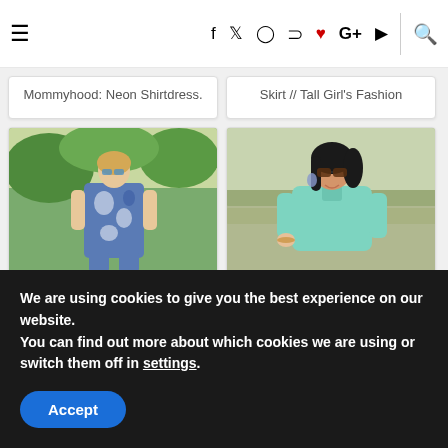≡ f t ◎ p ♥ G+ ▶ 🔍 [navigation bar]
Mommyhood: Neon Shirtdress.
Skirt // Tall Girl's Fashion
[Figure (photo): Woman wearing a blue and white patterned maxi dress standing outdoors near trees]
41. Perfect Maxi | Doused in Pink -A Life & Style Blog
[Figure (photo): Woman with dark hair and sunglasses wearing a mint/teal top outdoors]
42. The Daily Lace | Old City Wall
We are using cookies to give you the best experience on our website.
You can find out more about which cookies we are using or switch them off in settings.
Accept